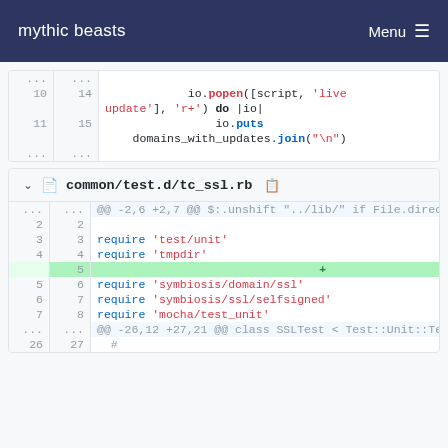mythic beasts   Menu
[Figure (screenshot): Code diff snippet showing io.popen and io.puts lines with line numbers 10-11 (old) and 14-15 (new)]
common/test.d/tc_ssl.rb
[Figure (screenshot): Code diff for common/test.d/tc_ssl.rb showing added require symbiosis line and surrounding require statements, lines 2-7 old / 2-8 new]